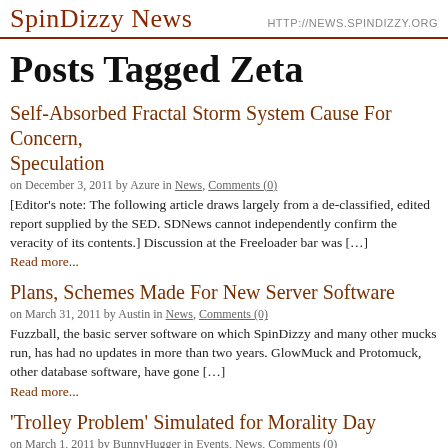SpinDizzy News | HTTP://NEWS.SPINDIZZY.ORG
Posts Tagged Zeta
Self-Absorbed Fractal Storm System Cause For Concern, Speculation
on December 3, 2011 by Azure in News, Comments (0)
[Editor's note: The following article draws largely from a de-classified, edited report supplied by the SED. SDNews cannot independently confirm the veracity of its contents.] Discussion at the Freeloader bar was […]
Read more...
Plans, Schemes Made For New Server Software
on March 31, 2011 by Austin in News, Comments (0)
Fuzzball, the basic server software on which SpinDizzy and many other mucks run, has had no updates in more than two years. GlowMuck and Protomuck, other database software, have gone […]
Read more...
'Trolley Problem' Simulated for Morality Day
on March 1, 2011 by BunnyHugger in Events, News, Comments (0)
In observance of Morality Day, the fourth Monday in February, the SED re-enacted a